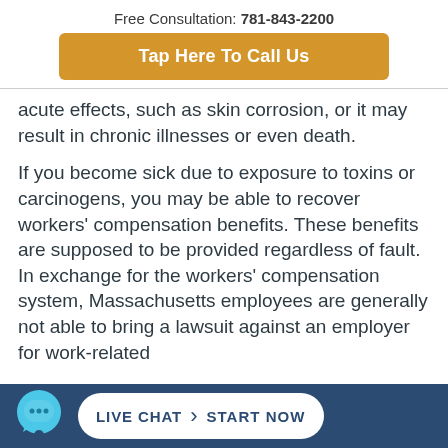Free Consultation: 781-843-2200
Tap Here To Call Us
acute effects, such as skin corrosion, or it may result in chronic illnesses or even death.
If you become sick due to exposure to toxins or carcinogens, you may be able to recover workers' compensation benefits. These benefits are supposed to be provided regardless of fault. In exchange for the workers' compensation system, Massachusetts employees are generally not able to bring a lawsuit against an employer for work-related
LIVE CHAT   >   START NOW